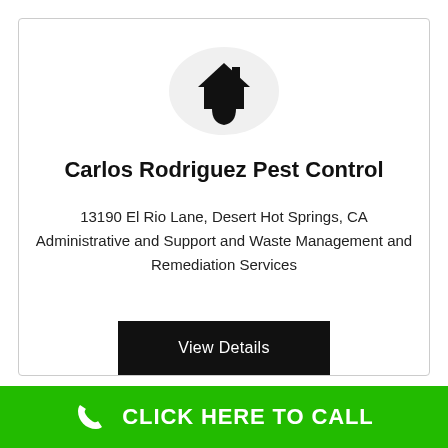[Figure (logo): House/home icon inside a light gray circle, black silhouette of a house with a chimney and a shield/bug shape below]
Carlos Rodriguez Pest Control
13190 El Rio Lane, Desert Hot Springs, CA
Administrative and Support and Waste Management and Remediation Services
View Details
CLICK HERE TO CALL